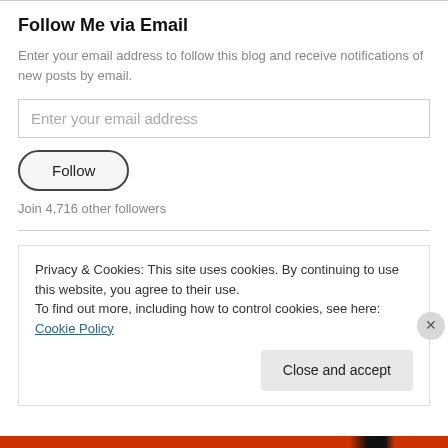Follow Me via Email
Enter your email address to follow this blog and receive notifications of new posts by email.
Enter your email address
Follow
Join 4,716 other followers
Privacy & Cookies: This site uses cookies. By continuing to use this website, you agree to their use. To find out more, including how to control cookies, see here: Cookie Policy
Close and accept